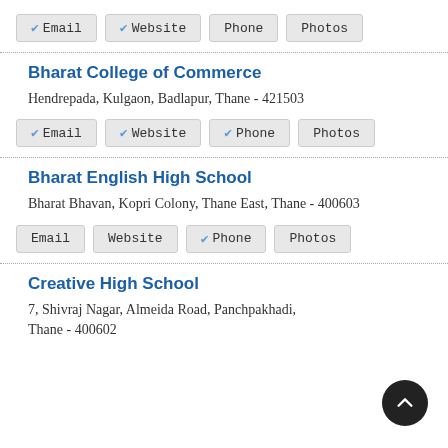✔ Email  ✔ Website  Phone  Photos
Bharat College of Commerce
Hendrepada, Kulgaon, Badlapur, Thane - 421503
✔ Email  ✔ Website  ✔ Phone  Photos
Bharat English High School
Bharat Bhavan, Kopri Colony, Thane East, Thane - 400603
Email  Website  ✔ Phone  Photos
Creative High School
7, Shivraj Nagar, Almeida Road, Panchpakhadi, Thane - 400602